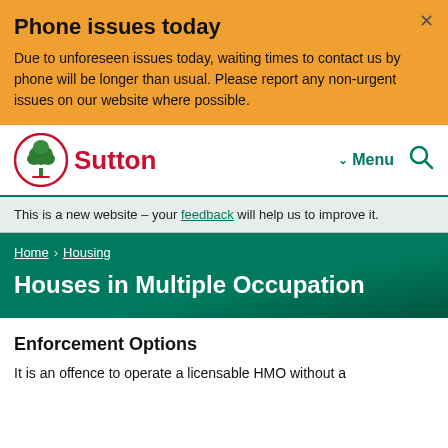Phone issues today
Due to unforeseen issues today, waiting times to contact us by phone will be longer than usual. Please report any non-urgent issues on our website where possible.
[Figure (logo): Sutton Council logo with tree emblem in red circle and red Sutton text]
This is a new website – your feedback will help us to improve it.
Home › Housing
Houses in Multiple Occupation
Enforcement Options
It is an offence to operate a licensable HMO without a